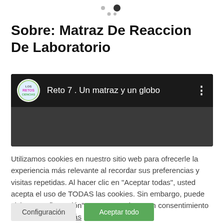[Figure (other): Pagination dots — five small dots with one larger filled dot indicating current page]
Sobre: Matraz De Reaccion De Laboratorio
[Figure (screenshot): Video thumbnail showing 'Reto 7 . Un matraz y un globo' with channel logo 'Los Retos de Ciencias' on dark background]
Utilizamos cookies en nuestro sitio web para ofrecerle la experiencia más relevante al recordar sus preferencias y visitas repetidas. Al hacer clic en "Aceptar todas", usted acepta el uso de TODAS las cookies. Sin embargo, puede visitar "Configuración" para proporcionar un consentimiento controlado. Leer más
Configuración
Aceptar todo